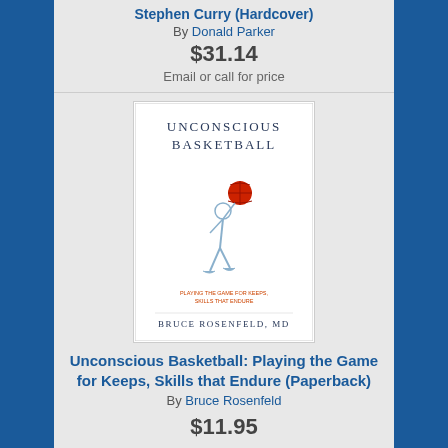Stephen Curry (Hardcover)
By Donald Parker
$31.14
Email or call for price
[Figure (photo): Book cover of 'Unconscious Basketball: Playing the Game for Keeps, Skills that Endure' by Bruce Rosenfeld, MD. Shows a basketball player dunking with a red basketball against a white background.]
Unconscious Basketball: Playing the Game for Keeps, Skills that Endure (Paperback)
By Bruce Rosenfeld
$11.95
Add to Cart
Add to Wish List
Not on our shelves now, usually available for pick-up or shipping in 2-14 days